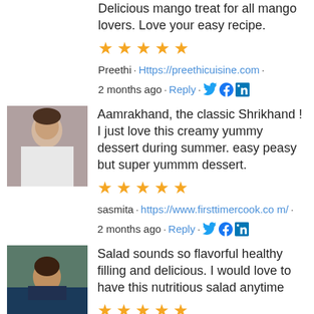Delicious mango treat for all mango lovers. Love your easy recipe.
★★★★★
Preethi · Https://preethicuisine.com · 2 months ago · Reply · Twitter Facebook LinkedIn
[Figure (photo): Profile photo of sasmita, a woman in a white top]
Aamrakhand, the classic Shrikhand ! I just love this creamy yummy dessert during summer. easy peasy but super yummm dessert.
★★★★★
sasmita · https://www.firsttimercook.com/ · 2 months ago · Reply · Twitter Facebook LinkedIn
[Figure (photo): Profile photo of Sujata Roy, a woman in dark clothing]
Salad sounds so flavorful healthy filling and delicious. I would love to have this nutritious salad anytime
★★★★★
Sujata Roy · https://batterupwithsujata.com/ · 2 months ago · Reply · Twitter Facebook LinkedIn
[Figure (photo): Profile photo (partially visible) of another commenter]
I love mango shrikhand. Shrikhand looks super yummy. I would love to try